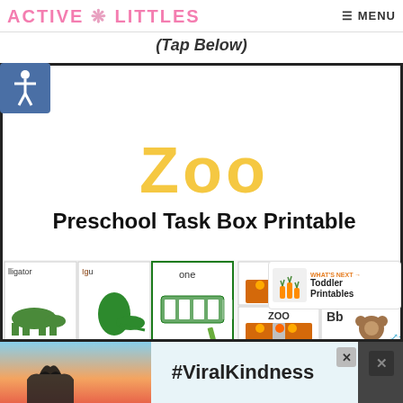ACTIVE LITTLES  ≡ MENU
(Tap Below)
[Figure (illustration): Zoo Preschool Task Box Printable product image showing zoo-themed learning cards with animals (alligator, iguana, eagle, flamingo), number cards, matching cards with ZOO gate images, and alphabet animal cards (Aa anteater, Bb bear)]
[Figure (photo): Advertisement banner showing hands forming a heart shape against a sunset sky background with text #ViralKindness]